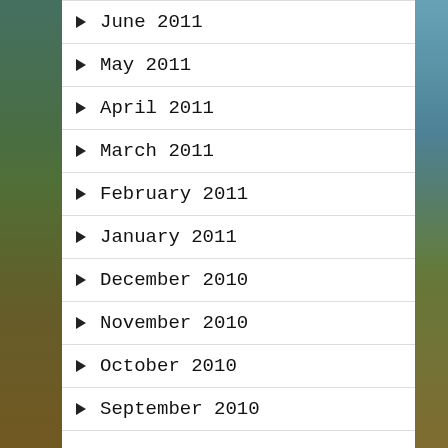June 2011
May 2011
April 2011
March 2011
February 2011
January 2011
December 2010
November 2010
October 2010
September 2010